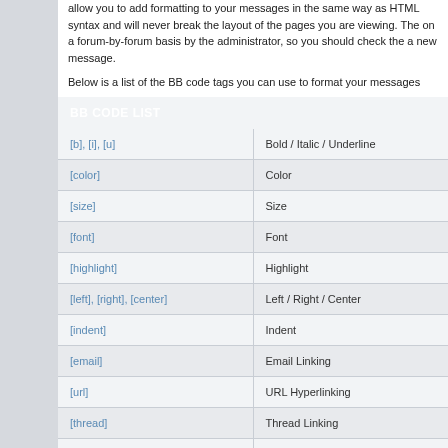allow you to add formatting to your messages in the same way as HTML syntax and will never break the layout of the pages you are viewing. The on a forum-by-forum basis by the administrator, so you should check the a new message.
Below is a list of the BB code tags you can use to format your messages
| BB CODE LIST |  |
| --- | --- |
| [b], [i], [u] | Bold / Italic / Underline |
| [color] | Color |
| [size] | Size |
| [font] | Font |
| [highlight] | Highlight |
| [left], [right], [center] | Left / Right / Center |
| [indent] | Indent |
| [email] | Email Linking |
| [url] | URL Hyperlinking |
| [thread] | Thread Linking |
| [post] | Post Linking |
| [list] | Bulleted / Numbered list |